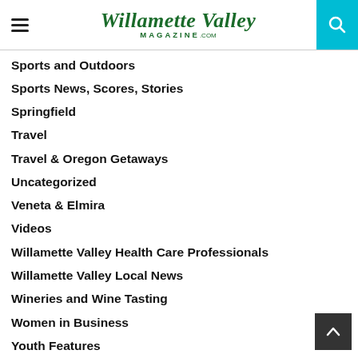Willamette Valley Magazine .com
Sports and Outdoors
Sports News, Scores, Stories
Springfield
Travel
Travel & Oregon Getaways
Uncategorized
Veneta & Elmira
Videos
Willamette Valley Health Care Professionals
Willamette Valley Local News
Wineries and Wine Tasting
Women in Business
Youth Features